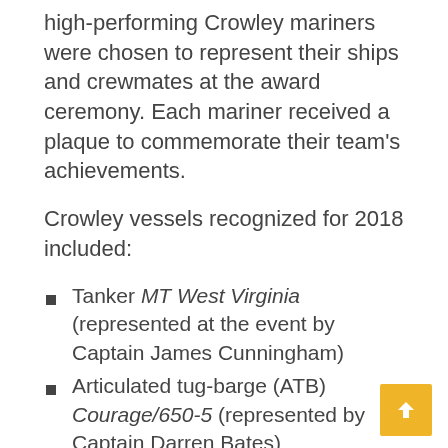high-performing Crowley mariners were chosen to represent their ships and crewmates at the award ceremony. Each mariner received a plaque to commemorate their team's achievements.
Crowley vessels recognized for 2018 included:
Tanker MT West Virginia (represented at the event by Captain James Cunningham)
Articulated tug-barge (ATB) Courage/650-5 (represented by Captain Darren Bates)
ATB Liberty/750-3 (represented by Second Mate Coronado Hickman)